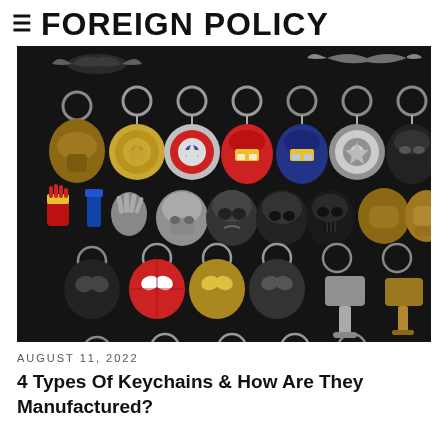≡ FOREIGN POLICY
[Figure (photo): A large collection of superhero-themed keychains on a dark background, including Iron Man helmets, Captain America shields, Spider-Man masks, Batman logos, Thor hammers, S.H.I.E.L.D. badges, Superman logos, and other Marvel and DC character keychains and accessories.]
AUGUST 11, 2022
4 Types Of Keychains & How Are They Manufactured?